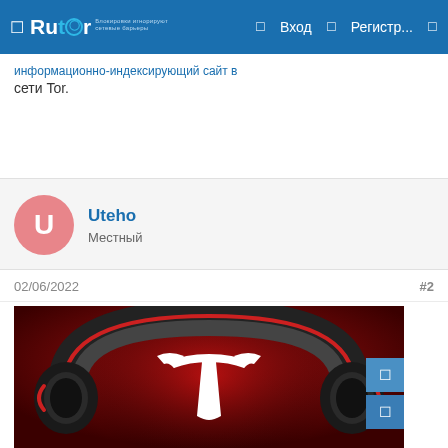Rutor — Вход — Регистр...
информационно-индексирующий сайт в сети Tor.
Uteho
Местный
02/06/2022   #2
[Figure (photo): Photo of black and red over-ear headphones with a Tesla logo (white T) on a dark red background]